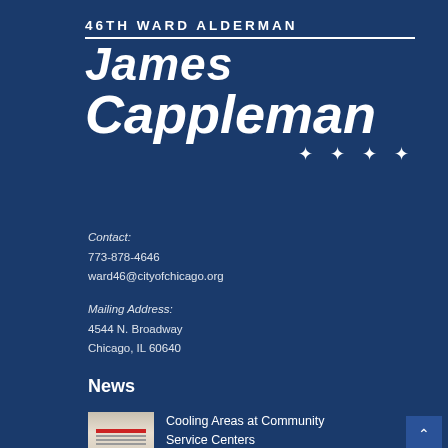46TH WARD ALDERMAN JAMES CAPPLEMAN
Contact:
773-878-4646
ward46@cityofchicago.org
Mailing Address:
4544 N. Broadway
Chicago, IL 60640
News
Cooling Areas at Community Service Centers
[Figure (photo): Thumbnail image of a document or flyer with red header bar]